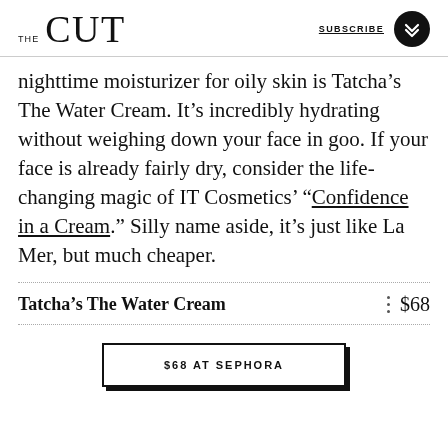THE CUT | SUBSCRIBE
nighttime moisturizer for oily skin is Tatcha’s The Water Cream. It’s incredibly hydrating without weighing down your face in goo. If your face is already fairly dry, consider the life-changing magic of IT Cosmetics’ “Confidence in a Cream.” Silly name aside, it’s just like La Mer, but much cheaper.
Tatcha’s The Water Cream   $68
$68 AT SEPHORA